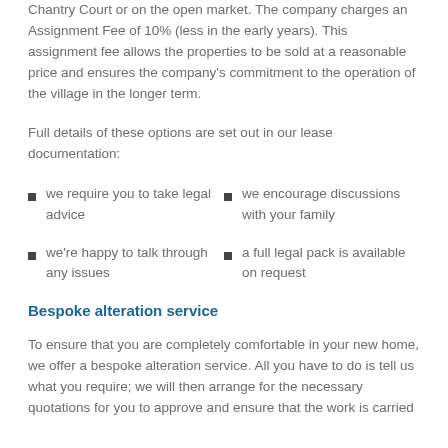Chantry Court or on the open market. The company charges an Assignment Fee of 10% (less in the early years). This assignment fee allows the properties to be sold at a reasonable price and ensures the company's commitment to the operation of the village in the longer term.
Full details of these options are set out in our lease documentation:
we require you to take legal advice
we encourage discussions with your family
we're happy to talk through any issues
a full legal pack is available on request
Bespoke alteration service
To ensure that you are completely comfortable in your new home, we offer a bespoke alteration service. All you have to do is tell us what you require; we will then arrange for the necessary quotations for you to approve and ensure that the work is carried